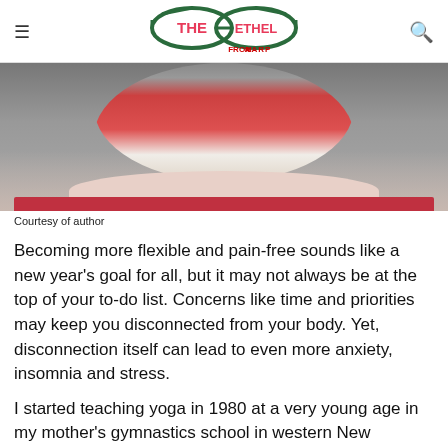THE ETHEL FROM AARP
[Figure (photo): Woman in red tank top seated cross-legged in a yoga meditation pose on a red mat against a gray wall]
Courtesy of author
Becoming more flexible and pain-free sounds like a new year’s goal for all, but it may not always be at the top of your to-do list. Concerns like time and priorities may keep you disconnected from your body. Yet, disconnection itself can lead to even more anxiety, insomnia and stress.
I started teaching yoga in 1980 at a very young age in my mother’s gymnastics school in western New